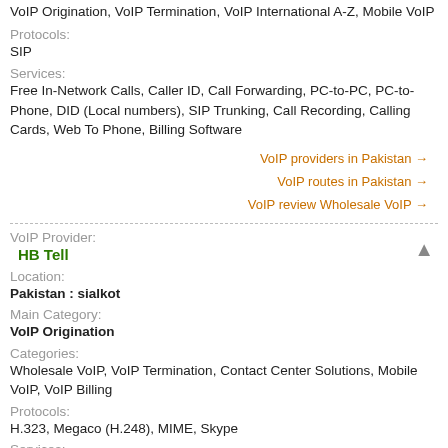VoIP Origination, VoIP Termination, VoIP International A-Z, Mobile VoIP
Protocols:
SIP
Services:
Free In-Network Calls, Caller ID, Call Forwarding, PC-to-PC, PC-to-Phone, DID (Local numbers), SIP Trunking, Call Recording, Calling Cards, Web To Phone, Billing Software
VoIP providers in Pakistan →
VoIP routes in Pakistan →
VoIP review Wholesale VoIP →
VoIP Provider:
HB Tell
Location:
Pakistan : sialkot
Main Category:
VoIP Origination
Categories:
Wholesale VoIP, VoIP Termination, Contact Center Solutions, Mobile VoIP, VoIP Billing
Protocols:
H.323, Megaco (H.248), MIME, Skype
Services:
Call Waiting, SoftPhone, PC-to-PC, PC-to-Phone, VoIP Consulting, VoIP International A-Z, VoIP Metro Ethernet, VoIP Colocation and Hosting, Callback Service, Calling Cards, Telemarketing, Web To Phone, GSM VoIP Solutions, Billing Software